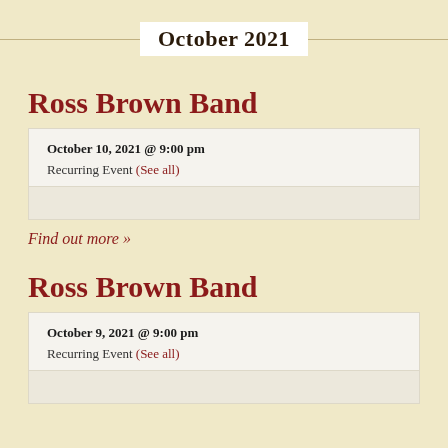October 2021
Ross Brown Band
October 10, 2021 @ 9:00 pm
Recurring Event (See all)
Find out more »
Ross Brown Band
October 9, 2021 @ 9:00 pm
Recurring Event (See all)